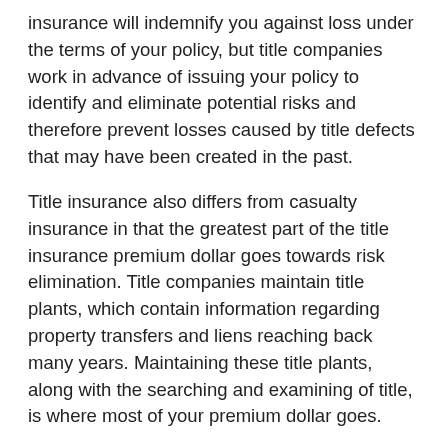insurance will indemnify you against loss under the terms of your policy, but title companies work in advance of issuing your policy to identify and eliminate potential risks and therefore prevent losses caused by title defects that may have been created in the past.
Title insurance also differs from casualty insurance in that the greatest part of the title insurance premium dollar goes towards risk elimination. Title companies maintain title plants, which contain information regarding property transfers and liens reaching back many years. Maintaining these title plants, along with the searching and examining of title, is where most of your premium dollar goes.
Who needs title insurance?
Buyers and lenders in real estate transactions need title insurance. Both want to know that the property they are